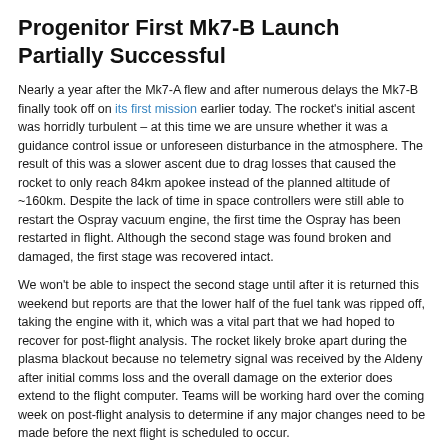Progenitor First Mk7-B Launch Partially Successful
Nearly a year after the Mk7-A flew and after numerous delays the Mk7-B finally took off on its first mission earlier today. The rocket's initial ascent was horridly turbulent – at this time we are unsure whether it was a guidance control issue or unforeseen disturbance in the atmosphere. The result of this was a slower ascent due to drag losses that caused the rocket to only reach 84km apokee instead of the planned altitude of ~160km. Despite the lack of time in space controllers were still able to restart the Ospray vacuum engine, the first time the Ospray has been restarted in flight. Although the second stage was found broken and damaged, the first stage was recovered intact.
We won't be able to inspect the second stage until after it is returned this weekend but reports are that the lower half of the fuel tank was ripped off, taking the engine with it, which was a vital part that we had hoped to recover for post-flight analysis. The rocket likely broke apart during the plasma blackout because no telemetry signal was received by the Aldeny after initial comms loss and the overall damage on the exterior does extend to the flight computer. Teams will be working hard over the coming week on post-flight analysis to determine if any major changes need to be made before the next flight is scheduled to occur.